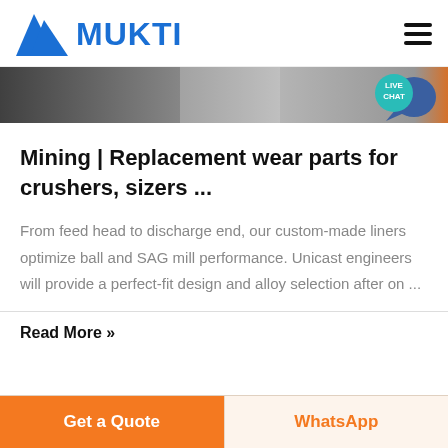MUKTI
[Figure (screenshot): Website banner with photo strip showing mining/industrial images and a 'LIVE CHAT' speech bubble in teal]
Mining | Replacement wear parts for crushers, sizers ...
From feed head to discharge end, our custom-made liners optimize ball and SAG mill performance. Unicast engineers will provide a perfect-fit design and alloy selection after on ...
Read More »